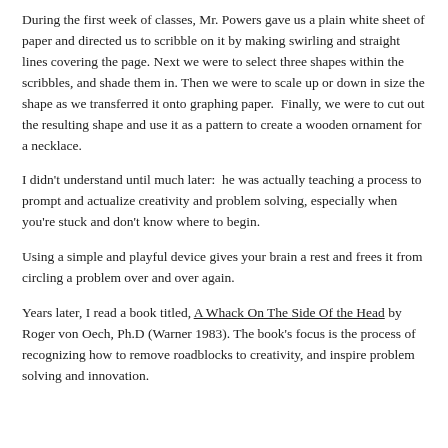During the first week of classes, Mr. Powers gave us a plain white sheet of paper and directed us to scribble on it by making swirling and straight lines covering the page. Next we were to select three shapes within the scribbles, and shade them in. Then we were to scale up or down in size the shape as we transferred it onto graphing paper.  Finally, we were to cut out the resulting shape and use it as a pattern to create a wooden ornament for a necklace.
I didn't understand until much later:  he was actually teaching a process to prompt and actualize creativity and problem solving, especially when you're stuck and don't know where to begin.
Using a simple and playful device gives your brain a rest and frees it from circling a problem over and over again.
Years later, I read a book titled, A Whack On The Side Of the Head by Roger von Oech, Ph.D (Warner 1983). The book's focus is the process of recognizing how to remove roadblocks to creativity, and inspire problem solving and innovation.